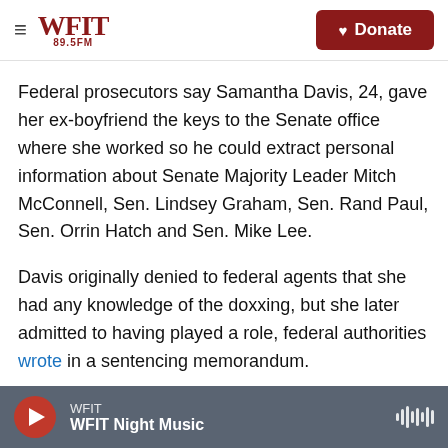WFIT 89.5FM | Donate
Federal prosecutors say Samantha Davis, 24, gave her ex-boyfriend the keys to the Senate office where she worked so he could extract personal information about Senate Majority Leader Mitch McConnell, Sen. Lindsey Graham, Sen. Rand Paul, Sen. Orrin Hatch and Sen. Mike Lee.
Davis originally denied to federal agents that she had any knowledge of the doxxing, but she later admitted to having played a role, federal authorities wrote in a sentencing memorandum.
Both Davis and her ex-boyfriend, Jackson Coske
WFIT | WFIT Night Music